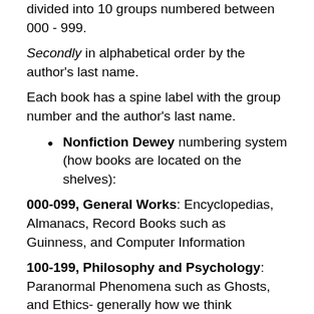divided into 10 groups numbered between 000 - 999.
Secondly in alphabetical order by the author's last name.
Each book has a spine label with the group number and the author's last name.
Nonfiction Dewey numbering system (how books are located on the shelves):
000-099, General Works: Encyclopedias, Almanacs, Record Books such as Guinness, and Computer Information
100-199, Philosophy and Psychology: Paranormal Phenomena such as Ghosts, and Ethics- generally how we think
200-299, Religion: Mythology, and Religions